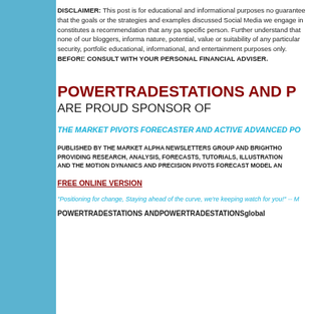DISCLAIMER: This post is for educational and informational purposes no guarantee that the goals or the strategies and examples discussed. Social Media we engage in constitutes a recommendation that any pa specific person. Further understand that none of our bloggers, informa nature, potential, value or suitability of any particular security, portfolo educational, informational, and entertainment purposes only. BEFORE CONSULT WITH YOUR PERSONAL FINANCIAL ADVISER.
POWERTRADESTATIONS AND P
ARE PROUD SPONSOR OF
THE MARKET PIVOTS FORECASTER AND ACTIVE ADVANCED PO
PUBLISHED BY THE MARKET ALPHA NEWSLETTERS GROUP AND BRIGHTHO PROVIDING RESEARCH, ANALYSIS, FORECASTS, TUTORIALS, ILLUSTRATION AND THE MOTION DYNANICS AND PRECISION PIVOTS FORECAST MODEL AN
FREE ONLINE VERSION
"Positioning for change, Staying ahead of the curve, we're keeping watch for you!" -- M
POWERTRADESTATIONS ANDPOWERTRADESTATIONS global